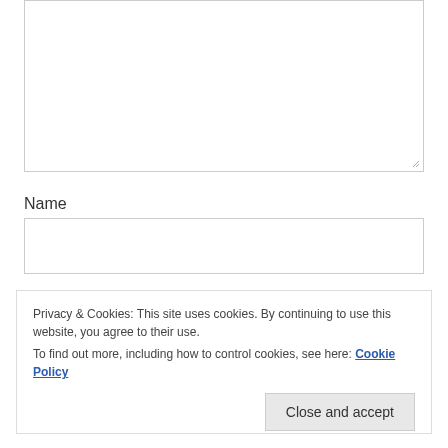[Figure (other): Large textarea input box with resize handle in bottom-right corner]
Name
[Figure (other): Single-line text input field for Name]
Privacy & Cookies: This site uses cookies. By continuing to use this website, you agree to their use.
To find out more, including how to control cookies, see here: Cookie Policy

Close and accept